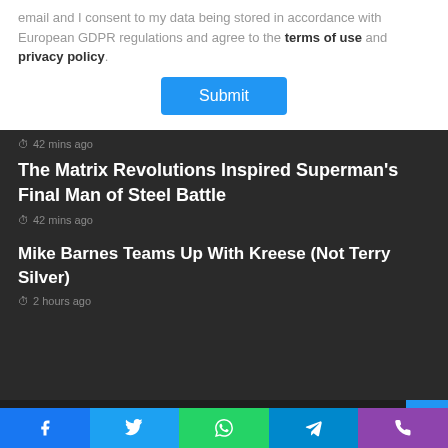email and I consent to my data being stored in accordance with European GDPR regulations and agree to the terms of use and privacy policy.
Submit
42 mins ago
The Matrix Revolutions Inspired Superman's Final Man of Steel Battle
42 mins ago
Mike Barnes Teams Up With Kreese (Not Terry Silver)
2 hours ago
© Copyright 2022, All Rights Reserved | ♥